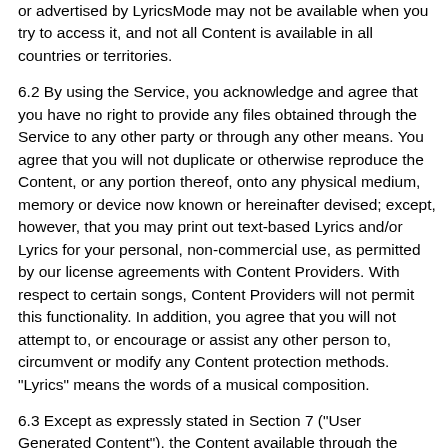or advertised by LyricsMode may not be available when you try to access it, and not all Content is available in all countries or territories.
6.2 By using the Service, you acknowledge and agree that you have no right to provide any files obtained through the Service to any other party or through any other means. You agree that you will not duplicate or otherwise reproduce the Content, or any portion thereof, onto any physical medium, memory or device now known or hereinafter devised; except, however, that you may print out text-based Lyrics and/or Lyrics for your personal, non-commercial use, as permitted by our license agreements with Content Providers. With respect to certain songs, Content Providers will not permit this functionality. In addition, you agree that you will not attempt to, or encourage or assist any other person to, circumvent or modify any Content protection methods. "Lyrics" means the words of a musical composition.
6.3 Except as expressly stated in Section 7 ("User Generated Content"), the Content available through the Service is the property of LyricsMode or its Content Providers and is protected by copyright and other intellectual property laws. Content received through the Service may be accessed for your personal, non-commercial use only.